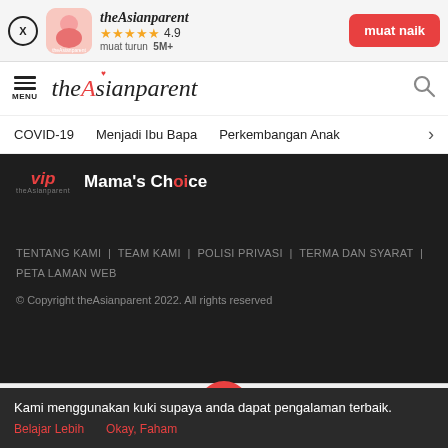[Figure (screenshot): App install banner for theAsianparent with X close button, app icon, star rating 4.9, 5M+ downloads, and muat naik button]
[Figure (screenshot): theAsianparent website header with hamburger menu, site logo, and search icon]
COVID-19   Menjadi Ibu Bapa   Perkembangan Anak >
[Figure (screenshot): Dark section with VIP badge and Mama's Choice branding, footer links, and copyright notice]
TENTANG KAMI | TEAM KAMI | POLISI PRIVASI | TERMA DAN SYARAT | PETA LAMAN WEB
© Copyright theAsianparent 2022. All rights reserved
[Figure (screenshot): Bottom navigation bar with Alat, Artikel, home (pregnant woman icon), Feed, Poll buttons]
Kami menggunakan kuki supaya anda dapat pengalaman terbaik.
Belajar Lebih   Okay, Faham